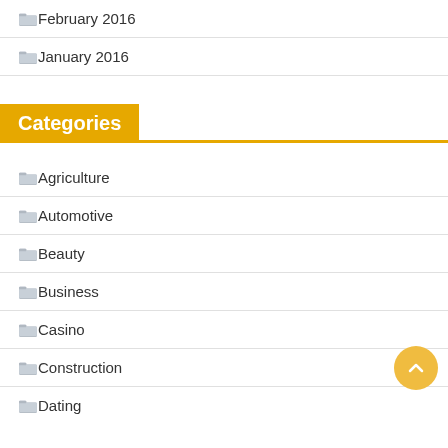February 2016
January 2016
Categories
Agriculture
Automotive
Beauty
Business
Casino
Construction
Dating